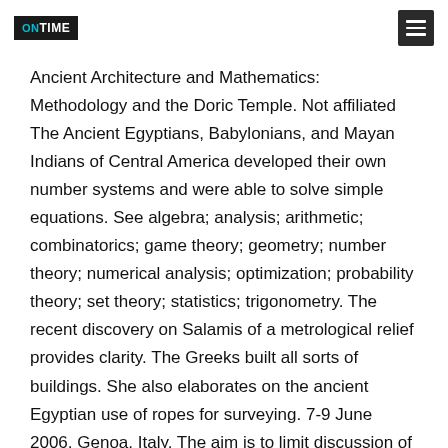ONTIME
Ancient Architecture and Mathematics: Methodology and the Doric Temple. Not affiliated The Ancient Egyptians, Babylonians, and Mayan Indians of Central America developed their own number systems and were able to solve simple equations. See algebra; analysis; arithmetic; combinatorics; game theory; geometry; number theory; numerical analysis; optimization; probability theory; set theory; statistics; trigonometry. The recent discovery on Salamis of a metrological relief provides clarity. The Greeks built all sorts of buildings. She also elaborates on the ancient Egyptian use of ropes for surveying. 7-9 June 2006, Genoa, Italy. The aim is to limit discussion of the ‘proof’ of this thesis in the interest of concentrating on